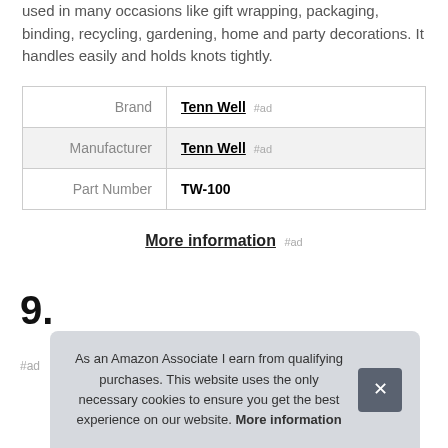used in many occasions like gift wrapping, packaging, binding, recycling, gardening, home and party decorations. It handles easily and holds knots tightly.
| Brand | Tenn Well #ad |
| Manufacturer | Tenn Well #ad |
| Part Number | TW-100 |
More information #ad
9.
#ad
As an Amazon Associate I earn from qualifying purchases. This website uses the only necessary cookies to ensure you get the best experience on our website. More information